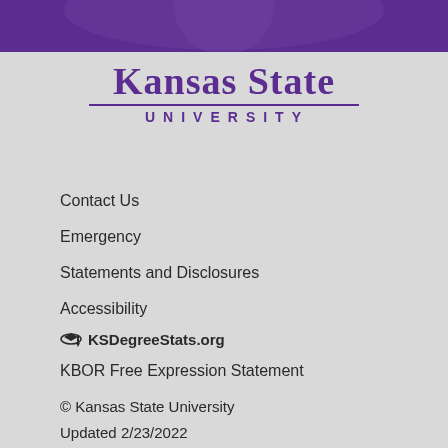[Figure (logo): Kansas State University logo with purple header bar at top]
Kansas State University
Contact Us
Emergency
Statements and Disclosures
Accessibility
KSDegreeStats.org
KBOR Free Expression Statement
© Kansas State University
Updated 2/23/2022